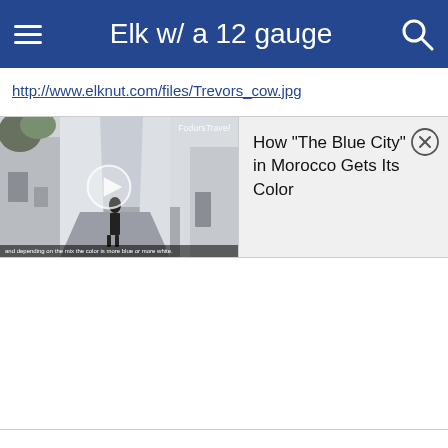Elk w/ a 12 gauge
http://www.elknut.com/files/Trevors_cow.jpg
[Figure (screenshot): Video thumbnail showing a blue-walled alley in Morocco with a person walking, a play button overlay, Fodors Travel watermark in top right, and subtitle text at bottom reading 'and depending on the mix the color is more blue or more white.' Adjacent ad panel shows text: How "The Blue City" in Morocco Gets Its Color, with an X close button.]